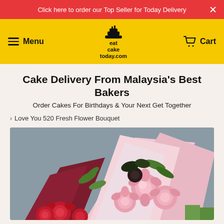Click here to order our Top Seller for Today Delivery
Menu | eatcaketoday.com | Cart
Cake Delivery From Malaysia's Best Bakers
Order Cakes For Birthdays & Your Next Get Together
Love You 520 Fresh Flower Bouquet
[Figure (photo): A flower bouquet product photo showing red and pink roses wrapped in pink and burgundy wrapping paper, photographed against a grey background.]
Select delivery date